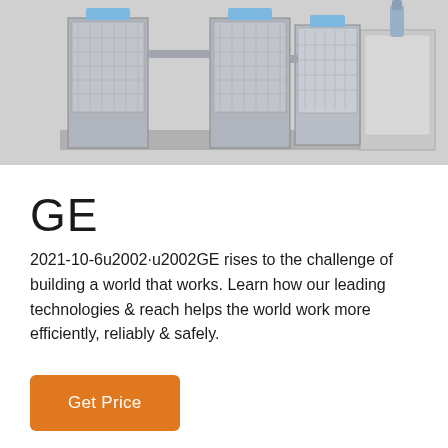[Figure (photo): Industrial water treatment or electrochemical equipment units — multiple grey rectangular modular units with grid panels and blue labels, alongside piping and a control cabinet, arranged in a row.]
GE
2021-10-6u2002·u2002GE rises to the challenge of building a world that works. Learn how our leading technologies & reach helps the world work more efficiently, reliably & safely.
Get Price